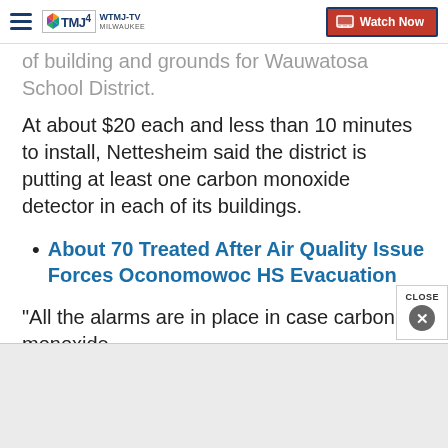WTMJ-TV MILWAUKEE | Watch Now
of building and grounds for Wauwatosa School District.
At about $20 each and less than 10 minutes to install, Nettesheim said the district is putting at least one carbon monoxide detector in each of its buildings.
About 70 Treated After Air Quality Issue Forces Oconomowoc HS Evacuation
"All the alarms are in place in case carbon monoxide levels did reach a level that would require us to